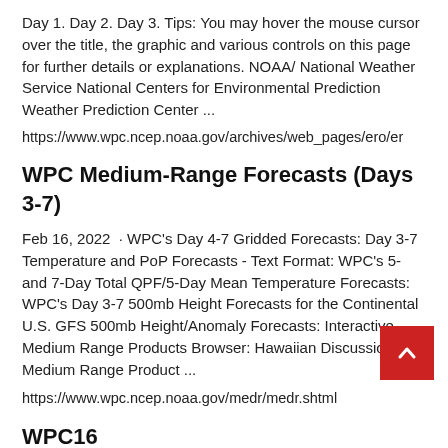Day 1. Day 2. Day 3. Tips: You may hover the mouse cursor over the title, the graphic and various controls on this page for further details or explanations. NOAA/ National Weather Service National Centers for Environmental Prediction Weather Prediction Center ...
https://www.wpc.ncep.noaa.gov/archives/web_pages/ero/er
WPC Medium-Range Forecasts (Days 3-7)
Feb 16, 2022  · WPC's Day 4-7 Gridded Forecasts: Day 3-7 Temperature and PoP Forecasts - Text Format: WPC's 5-and 7-Day Total QPF/5-Day Mean Temperature Forecasts: WPC's Day 3-7 500mb Height Forecasts for the Continental U.S. GFS 500mb Height/Anomaly Forecasts: Interactive Medium Range Products Browser: Hawaiian Discussion Medium Range Product ...
https://www.wpc.ncep.noaa.gov/medr/medr.shtml
WPC16